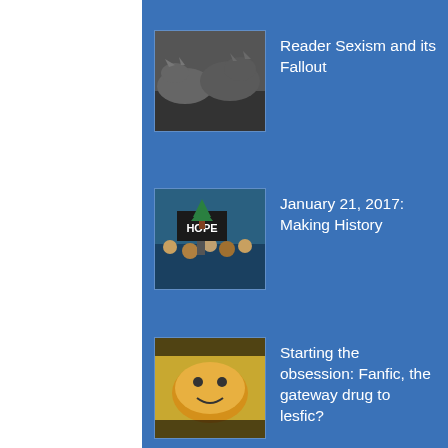Reader Sexism and its Fallout
January 21, 2017: Making History
Starting the obsession: Fanfic, the gateway drug to lesfic?
Les The Night Before Christmas (A Visit From St.